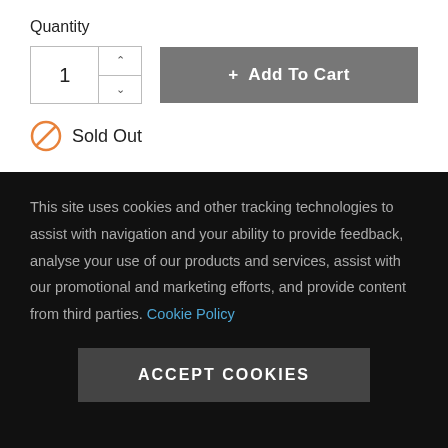Quantity
1
+ Add To Cart
Sold Out
This site uses cookies and other tracking technologies to assist with navigation and your ability to provide feedback, analyse your use of our products and services, assist with our promotional and marketing efforts, and provide content from third parties. Cookie Policy
ACCEPT COOKIES